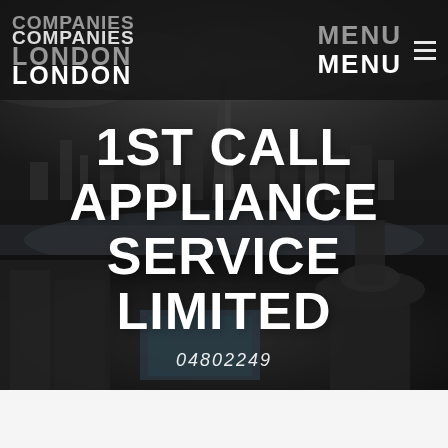[Figure (screenshot): Aerial photograph of London cityscape used as hero background, dark/desaturated tone]
COMPANIES COMPANIES LONDON LONDON
MENU ≡
1ST CALL APPLIANCE SERVICE LIMITED
04802249